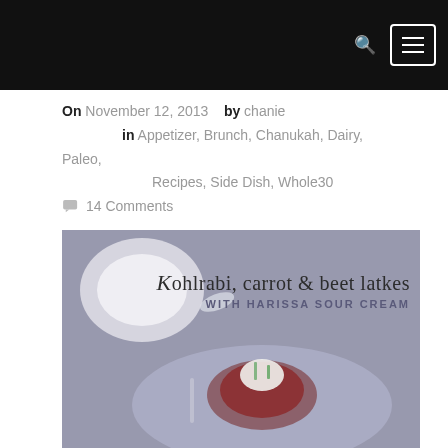On November 12, 2013  by chanie in Appetizer, Brunch, Chanukah, Dairy, Paleo, Recipes, Side Dish, Whole30
14 Comments
[Figure (photo): Food photo of kohlrabi, carrot and beet latkes on a lavender/grey plate with harissa sour cream, with text overlay reading 'Kohlrabi, carrot & beet latkes WITH HARISSA SOUR CREAM']